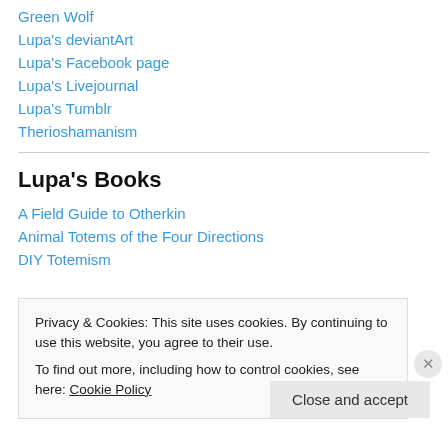Green Wolf
Lupa's deviantArt
Lupa's Facebook page
Lupa's Livejournal
Lupa's Tumblr
Therioshamanism
Lupa's Books
A Field Guide to Otherkin
Animal Totems of the Four Directions
DIY Totemism
Privacy & Cookies: This site uses cookies. By continuing to use this website, you agree to their use.
To find out more, including how to control cookies, see here: Cookie Policy
Close and accept